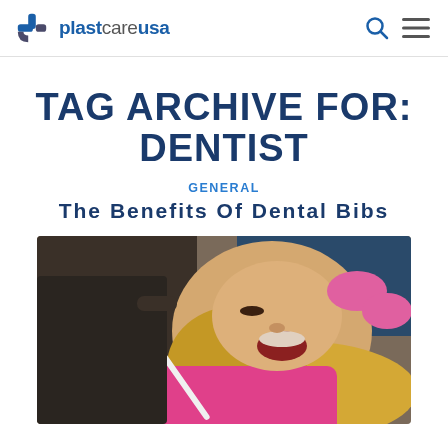plastcareusa
TAG ARCHIVE FOR: DENTIST
GENERAL
The Benefits Of Dental Bibs
[Figure (photo): A dental patient (blonde woman in pink bib) reclined in a dental chair with mouth open, while a dental professional in pink gloves works with dental tools]